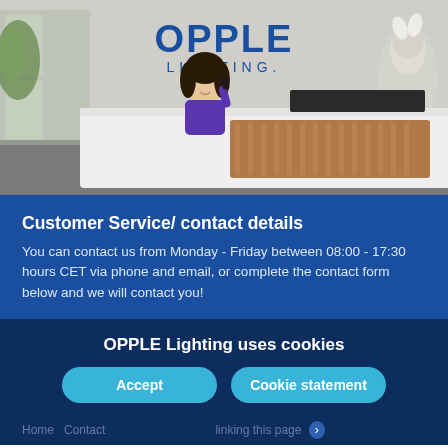[Figure (photo): Reception desk of OPPLE Lighting office. A woman in a purple top is standing behind a modern white reception desk with a wooden front panel, talking on the phone. The OPPLE LIGHTING logo is visible on the wall behind her. A plant is in the background to the right.]
Customer Service/ contact details
You can contact us from Monday - Friday between 08:00 - 17:30 hours CET via phone and email, or complete the contact form below and we will contact you!
OPPLE Lighting uses cookies
Accept
Cookie statement